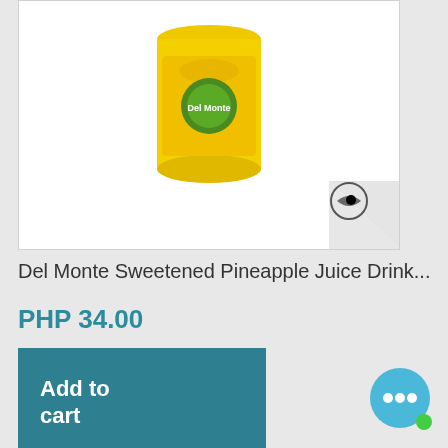[Figure (photo): Del Monte Sweetened Pineapple Juice Drink can on white background with a watermark eye logo in bottom right corner]
Del Monte Sweetened Pineapple Juice Drink...
PHP 34.00
Add to cart
More
Add to Wishlist
Add to Compare